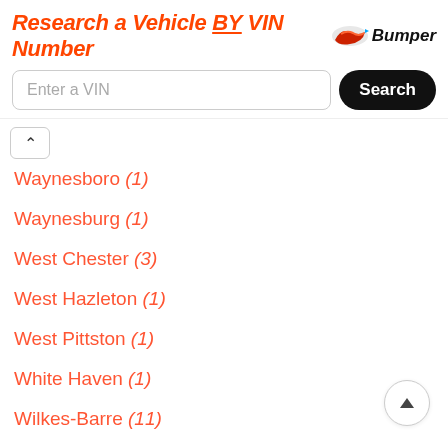Research a Vehicle BY VIN Number — Bumper
Waynesboro (1)
Waynesburg (1)
West Chester (3)
West Hazleton (1)
West Pittston (1)
White Haven (1)
Wilkes-Barre (11)
Williamsport (1)
Willow Grove (1)